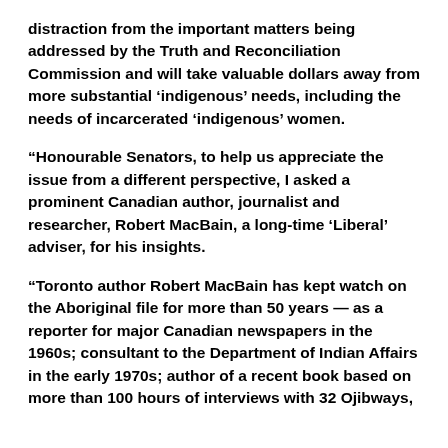distraction from the important matters being addressed by the Truth and Reconciliation Commission and will take valuable dollars away from more substantial ‘indigenous’ needs, including the needs of incarcerated ‘indigenous’ women.
“Honourable Senators, to help us appreciate the issue from a different perspective, I asked a prominent Canadian author, journalist and researcher, Robert MacBain, a long-time ‘Liberal’ adviser, for his insights.
“Toronto author Robert MacBain has kept watch on the Aboriginal file for more than 50 years — as a reporter for major Canadian newspapers in the 1960s; consultant to the Department of Indian Affairs in the early 1970s; author of a recent book based on more than 100 hours of interviews with 32 Ojibways,